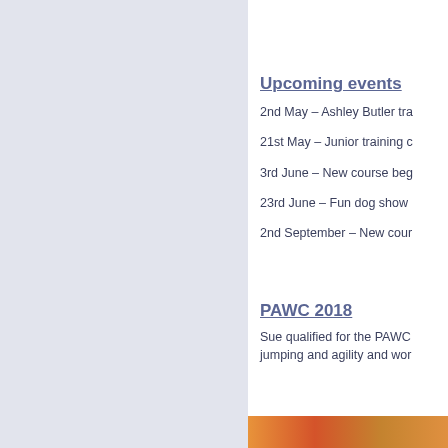[Figure (other): Left sidebar panel with light blue-grey background]
Upcoming events
2nd May – Ashley Butler tra
21st May – Junior training c
3rd June – New course beg
23rd June – Fun dog show
2nd September – New cour
PAWC 2018
Sue qualified for the PAWC jumping and agility and wor
[Figure (photo): Photo strip at bottom showing dogs or agility event in orange/red tones]